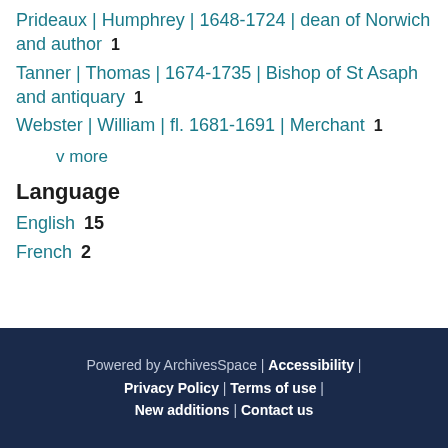Prideaux | Humphrey | 1648-1724 | dean of Norwich and author  1
Tanner | Thomas | 1674-1735 | Bishop of St Asaph and antiquary  1
Webster | William | fl. 1681-1691 | Merchant  1
v more
Language
English  15
French  2
Powered by ArchivesSpace | Accessibility | Privacy Policy | Terms of use | New additions | Contact us